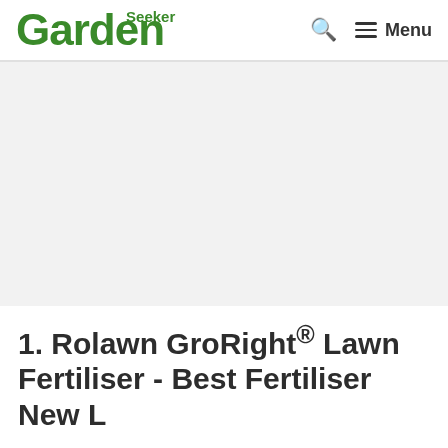GardenSeeker — Menu
[Figure (photo): Large light grey placeholder image area for a lawn fertiliser product photo]
1. Rolawn GroRight® Lawn Fertiliser - Best Fertiliser New L…